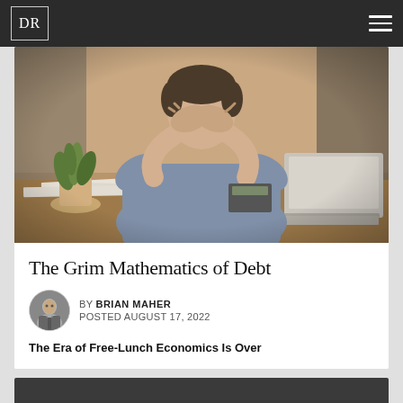DR
[Figure (photo): Person sitting at a desk with head in hands, looking stressed, with papers and a laptop in front of them and a plant in the background]
The Grim Mathematics of Debt
BY BRIAN MAHER
POSTED AUGUST 17, 2022
The Era of Free-Lunch Economics Is Over